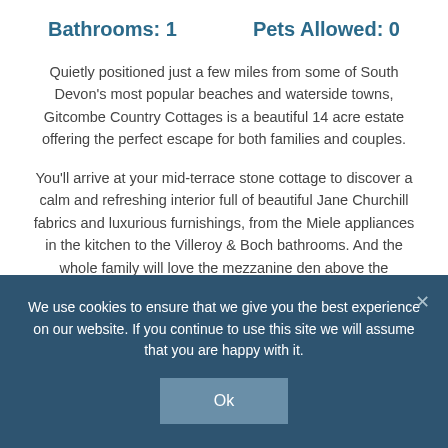Bathrooms: 1    Pets Allowed: 0
Quietly positioned just a few miles from some of South Devon's most popular beaches and waterside towns, Gitcombe Country Cottages is a beautiful 14 acre estate offering the perfect escape for both families and couples.
You'll arrive at your mid-terrace stone cottage to discover a calm and refreshing interior full of beautiful Jane Churchill fabrics and luxurious furnishings, from the Miele appliances in the kitchen to the Villeroy & Boch bathrooms. And the whole family will love the mezzanine den above the
We use cookies to ensure that we give you the best experience on our website. If you continue to use this site we will assume that you are happy with it.
Ok